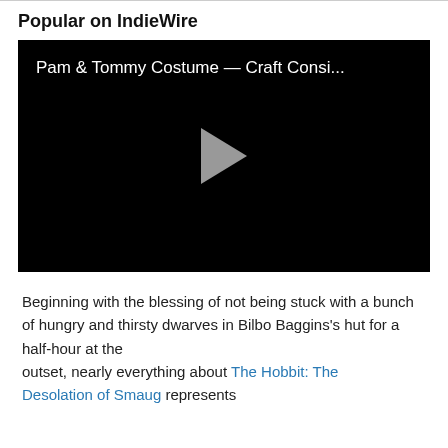Popular on IndieWire
[Figure (screenshot): Black video player thumbnail with title 'Pam & Tommy Costume — Craft Consi...' and a play button in the center]
Beginning with the blessing of not being stuck with a bunch of hungry and thirsty dwarves in Bilbo Baggins's hut for a half-hour at the outset, nearly everything about The Hobbit: The Desolation of Smaug represents